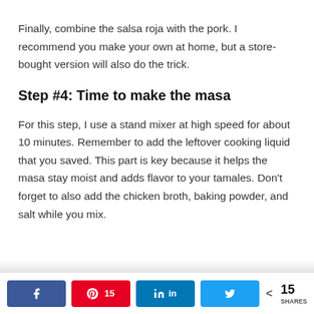Finally, combine the salsa roja with the pork. I recommend you make your own at home, but a store-bought version will also do the trick.
Step #4: Time to make the masa
For this step, I use a stand mixer at high speed for about 10 minutes. Remember to add the leftover cooking liquid that you saved. This part is key because it helps the masa stay moist and adds flavor to your tamales. Don't forget to also add the chicken broth, baking powder, and salt while you mix.
Share buttons: Facebook, Pinterest 15, LinkedIn, Twitter | < 15 SHARES